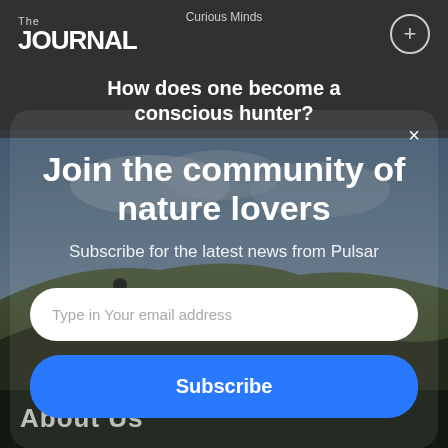The JOURNAL | Curious Minds | +
How does one become a conscious hunter?
[Figure (photo): Outdoor hunting scene with a person standing on a hillside with a rifle, against a cloudy sky and moorland landscape]
×
Join the community of nature lovers
Subscribe for the latest news from Pulsar
Type in Your email address
Subscribe
About Us